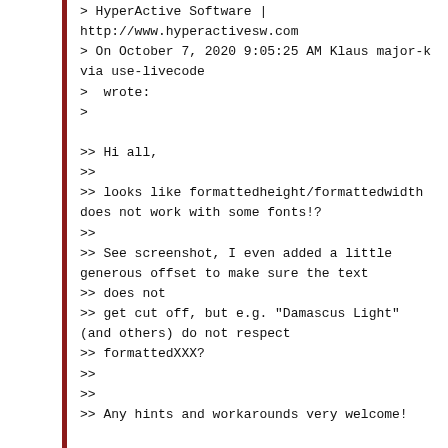> HyperActive Software | http://www.hyperactivesw.com
> On October 7, 2020 9:05:25 AM Klaus major-k via use-livecode
>  wrote:
>
>> Hi all,
>>
>> looks like formattedheight/formattedwidth does not work with some fonts!?
>>
>> See screenshot, I even added a little generous offset to make sure the text
>> does not
>> get cut off, but e.g. "Damascus Light" (and others) do not respect
>> formattedXXX?
>>
>>
>> Any hints and workarounds very welcome!

Best

kl